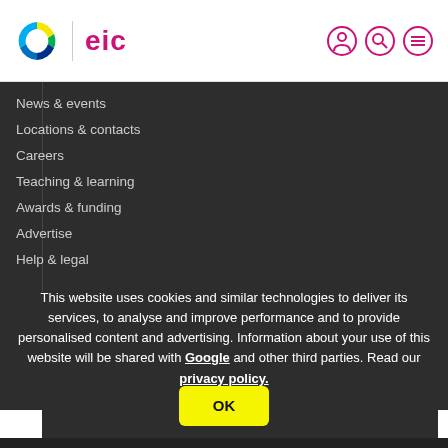[Figure (logo): EIC website logo with colorful C icon and magenta 'eic' text, with navigation icons (person, search, menu) on the right]
News & events
Locations & contacts
Careers
Teaching & learning
Awards & funding
Advertise
Help & legal
This website uses cookies and similar technologies to deliver its services, to analyse and improve performance and to provide personalised content and advertising. Information about your use of this website will be shared with Google and other third parties. Read our privacy policy.
OK